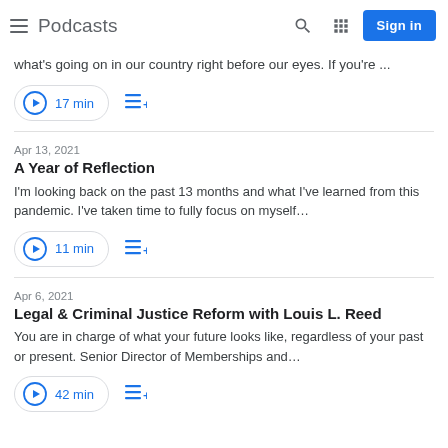Podcasts
what's going on in our country right before our eyes. If you're ...
17 min
Apr 13, 2021
A Year of Reflection
I'm looking back on the past 13 months and what I've learned from this pandemic. I've taken time to fully focus on myself…
11 min
Apr 6, 2021
Legal & Criminal Justice Reform with Louis L. Reed
You are in charge of what your future looks like, regardless of your past or present. Senior Director of Memberships and…
42 min